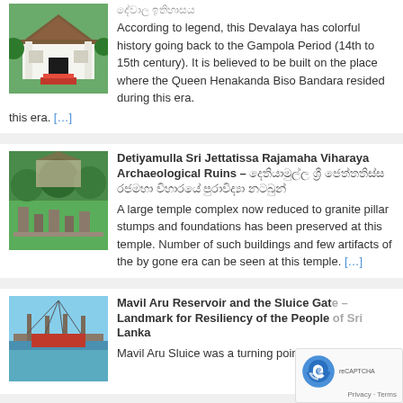[Figure (photo): Photo of a traditional Sri Lankan Devalaya building with white walls, thatched roof, and red steps]
දේවාල ඉතිහාසය
According to legend, this Devalaya has colorful history going back to the Gampola Period (14th to 15th century). It is believed to be built on the place where the Queen Henakanda Biso Bandara resided during this era. […]
[Figure (photo): Photo of archaeological ruins with green grass and stone remains of a temple complex]
Detiyamulla Sri Jettatissa Rajamaha Viharaya Archaeological Ruins – දෙතියාමුල්ල ශ්‍රී ජෙත්තතිස්ස රජමහා විහාරයේ පුරාවිද්‍යා නටබුන්
A large temple complex now reduced to granite pillar stumps and foundations has been preserved at this temple. Number of such buildings and few artifacts of the by gone era can be seen at this temple. […]
[Figure (photo): Photo of Mavil Aru Reservoir with a bridge/sluice gate structure visible]
Mavil Aru Reservoir and the Sluice Gate – Landmark for Resiliency of the People of Sri Lanka
Mavil Aru Sluice was a turning point for the